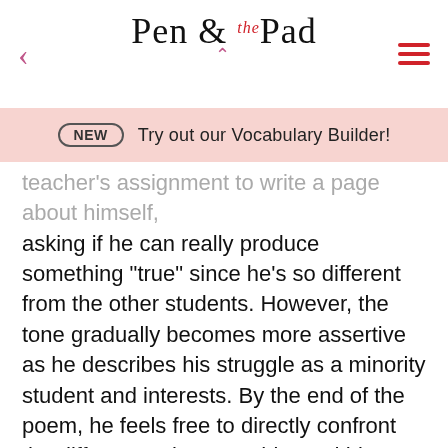Pen & the Pad
NEW  Try out our Vocabulary Builder!
teacher's assignment to write a page about himself, asking if he can really produce something "true" since he's so different from the other students. However, the tone gradually becomes more assertive as he describes his struggle as a minority student and interests. By the end of the poem, he feels free to directly confront the differences between him and his teacher and the potential fallacies in the assignment.
Characterization
"Theme for English B" is a persona poem, a poem narrated by a particular character. Hughes includes